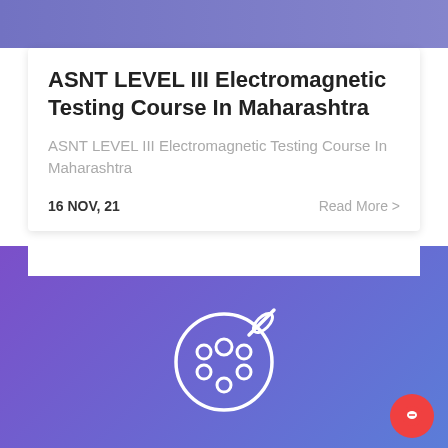ASNT LEVEL III Electromagnetic Testing Course In Maharashtra
ASNT LEVEL III Electromagnetic Testing Course In Maharashtra
16 NOV, 21
Read More >
[Figure (illustration): Paint palette icon (white outline) on a purple-to-blue gradient background]